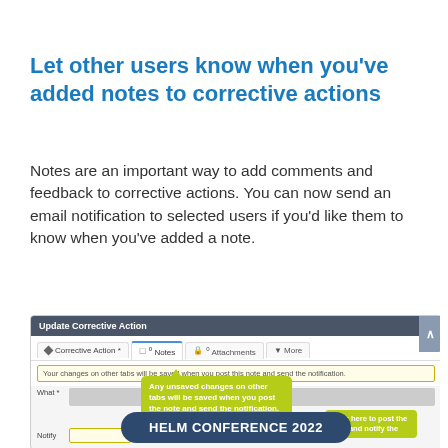Let other users know when you’ve added notes to corrective actions
Notes are an important way to add comments and feedback to corrective actions. You can now send an email notification to selected users if you’d like them to know when you’ve added a note.
[Figure (screenshot): Screenshot of Update Corrective Action dialog with tabs (Corrective Action, Notes, Attachments, More), a yellow warning bar, What field, Notify field, tooltip callouts in olive/yellow-green explaining unsaved changes behavior, and a dark navy HELM CONFERENCE 2022 badge overlay at the bottom.]